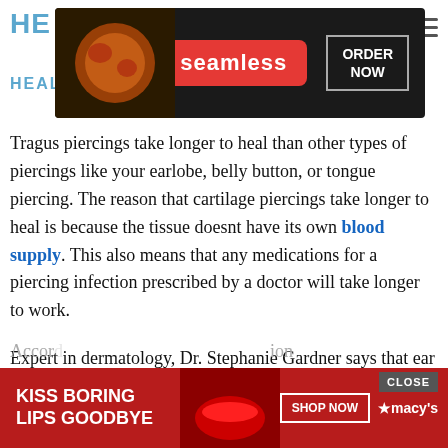HE HEAL
[Figure (other): Seamless food delivery advertisement banner with pizza image, red Seamless badge, and ORDER NOW button]
Tragus piercings take longer to heal than other types of piercings like your earlobe, belly button, or tongue piercing. The reason that cartilage piercings take longer to heal is because the tissue doesnt have its own blood supply. This also means that any medications for a piercing infection prescribed by a doctor will take longer to work.
Expert in dermatology, Dr. Stephanie Gardner says that ear cartilage piercings can take between 4 months and 1 year to heal. However, the healing time of your tragus piercing will depend much on how well you care for your new piercing.2
Accor…ion
[Figure (other): Macy's advertisement banner with red background, KISS BORING LIPS GOODBYE text, SHOP NOW button, and Macy's star logo]